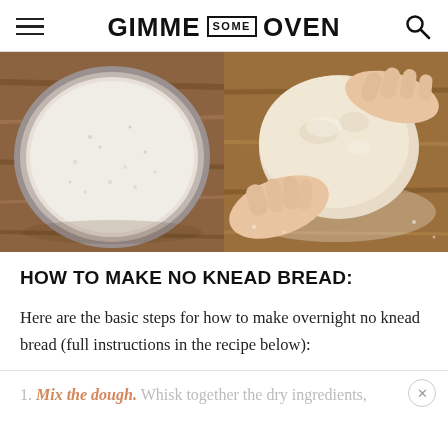GIMME SOME OVEN
[Figure (photo): Two side-by-side food photos: left shows a glass bowl with wet no-knead bread dough/batter from above on a wooden surface; right shows hands kneading a ball of flour-dusted bread dough on a wooden surface.]
HOW TO MAKE NO KNEAD BREAD:
Here are the basic steps for how to make overnight no knead bread (full instructions in the recipe below):
1. Mix the dough. Whisk together the dry ingredients,